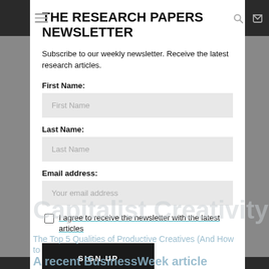THE RESEARCH PAPERS NEWSLETTER
Subscribe to our weekly newsletter. Receive the latest research articles.
First Name:
First Name
Last Name:
Last Name
Email address:
Your email address
I agree to receive the newsletter with the latest articles
SIGN UP